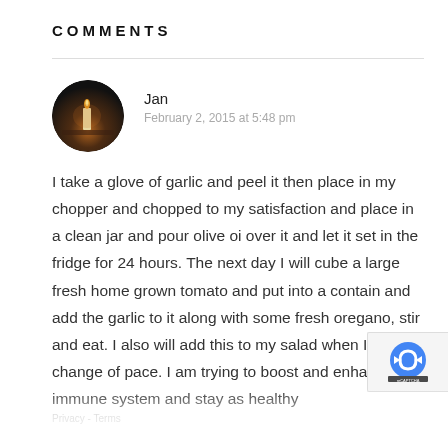COMMENTS
Jan
February 2, 2015 at 5:48 pm
I take a glove of garlic and peel it then place in my chopper and chopped to my satisfaction and place in a clean jar and pour olive oi over it and let it set in the fridge for 24 hours. The next day I will cube a large fresh home grown tomato and put into a contain and add the garlic to it along with some fresh oregano, stir and eat. I also will add this to my salad when I want a change of pace. I am trying to boost and enhance my immune system and stay as healthy
[Figure (logo): reCAPTCHA logo badge on right side of page]
Privacy - Terms